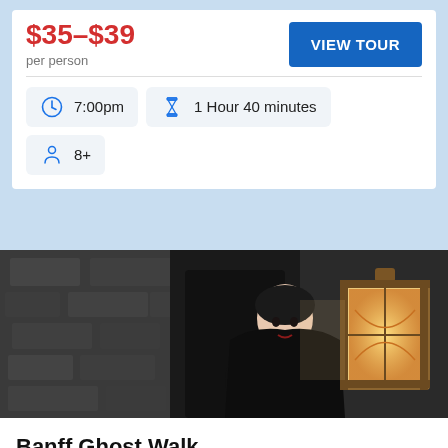$35–$39 per person
VIEW TOUR
7:00pm
1 Hour 40 minutes
8+
[Figure (photo): Woman in dark clothing holding a vintage lantern in front of stone wall — ghost walk guide]
Banff Ghost Walk
Spend a spook-tacular evening unearthing the ghastly ghosts, ghouls and mysterious events lurking in the shadows of Banff's streets. Take a walk on the